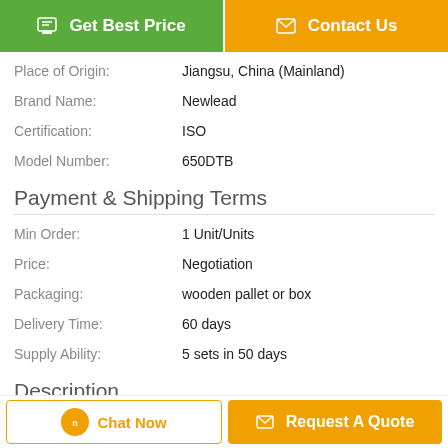[Figure (screenshot): Green 'Get Best Price' button and orange 'Contact Us' button at top]
| Place of Origin: | Jiangsu, China (Mainland) |
| Brand Name: | Newlead |
| Certification: | ISO |
| Model Number: | 650DTB |
Payment & Shipping Terms
| Min Order: | 1 Unit/Units |
| Price: | Negotiation |
| Packaging: | wooden pallet or box |
| Delivery Time: | 60 days |
| Supply Ability: | 5 sets in 50 days |
Description
[Figure (screenshot): Bottom bar with 'Chat Now' and 'Request A Quote' buttons]